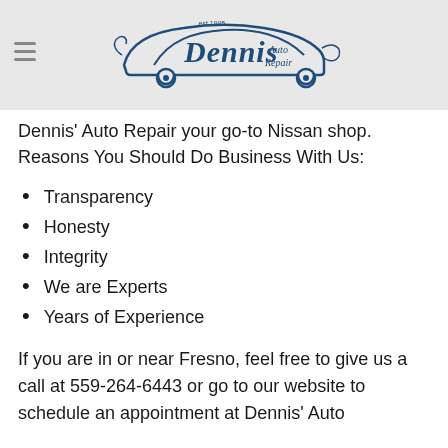[Figure (logo): Dennis Auto Repair logo with stylized script 'Dennis Auto Repair' text and car silhouette, est. 1985, in dark blue]
Dennis' Auto Repair your go-to Nissan shop. Reasons You Should Do Business With Us:
Transparency
Honesty
Integrity
We are Experts
Years of Experience
If you are in or near Fresno, feel free to give us a call at 559-264-6443 or go to our website to schedule an appointment at Dennis' Auto